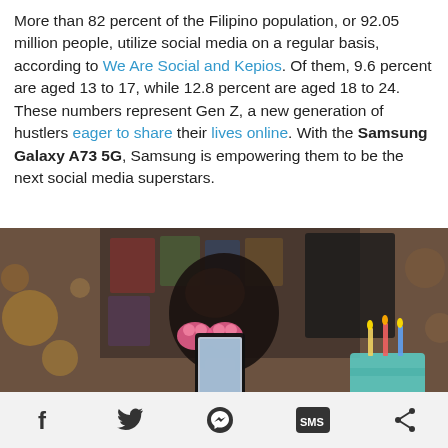More than 82 percent of the Filipino population, or 92.05 million people, utilize social media on a regular basis, according to We Are Social and Kepios. Of them, 9.6 percent are aged 13 to 17, while 12.8 percent are aged 18 to 24. These numbers represent Gen Z, a new generation of hustlers eager to share their lives online. With the Samsung Galaxy A73 5G, Samsung is empowering them to be the next social media superstars.
[Figure (photo): A young person taking a selfie with a smartphone, wearing pink heart-shaped sunglasses, with a birthday cake with candles visible to the right and bokeh lights in the background.]